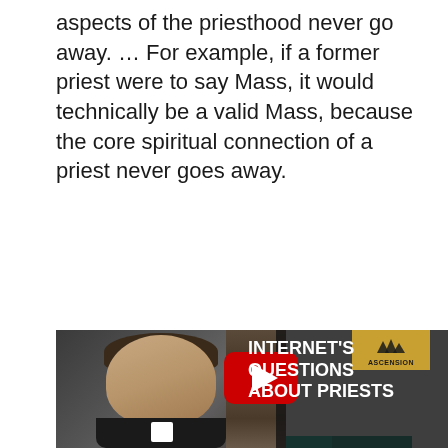aspects of the priesthood never go away. … For example, if a former priest were to say Mass, it would technically be a valid Mass, because the core spiritual connection of a priest never goes away.
[Figure (infographic): Teal banner reading 'IT IS INTERESTING: What is religious control?' with a right-arrow chevron on the right side]
[Figure (screenshot): YouTube video thumbnail showing a priest with text 'INTERNET'S QUESTIONS ABOUT PRIESTS' and a YouTube play button, with Ascension logo in gold top-right corner]